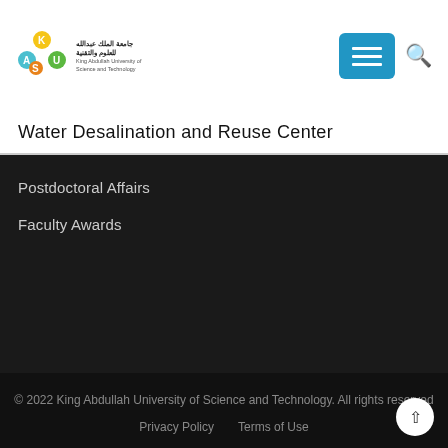[Figure (logo): King Abdullah University of Science and Technology logo with Arabic and English text]
Water Desalination and Reuse Center
Postdoctoral Affairs
Faculty Awards
© 2022 King Abdullah University of Science and Technology. All rights reserved
Privacy Policy   Terms of Use